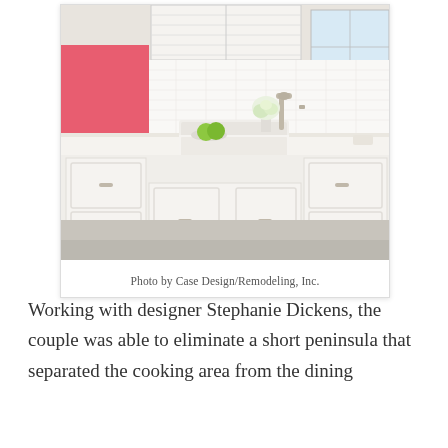[Figure (photo): Kitchen interior with white cabinets, farmhouse sink, polished nickel faucet, white countertops, and a pink accent wall with a built-in bench seating area in the background. Flowers and fruit displayed on the counter.]
Photo by Case Design/Remodeling, Inc.
Working with designer Stephanie Dickens, the couple was able to eliminate a short peninsula that separated the cooking area from the dining